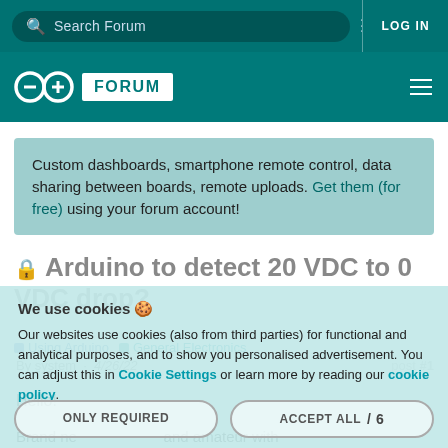Search Forum  LOG IN
[Figure (logo): Arduino Forum logo with infinity symbol and FORUM badge]
Custom dashboards, smartphone remote control, data sharing between boards, remote uploads. Get them (for free) using your forum account!
Arduino to detect 20 VDC to 0 VDC drop?
Using Arduino  General Electronics
We use cookies
Our websites use cookies (also from third parties) for functional and analytical purposes, and to show you personalised advertisement. You can adjust this in Cookie Settings or learn more by reading our cookie policy.
Hello!
Brand new to Arduino and amateur with a question - would like to know if this is po-
ONLY REQUIRED    ACCEPT ALL / 6